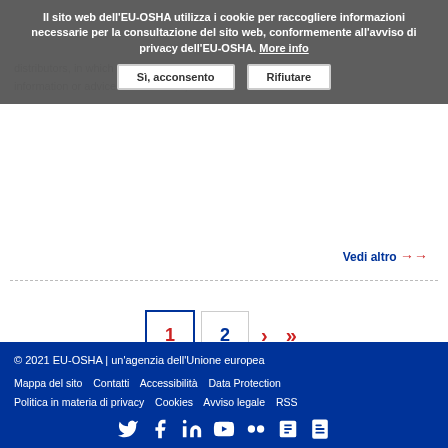Il sito web dell'EU-OSHA utilizza i cookie per raccogliere informazioni necessarie per la consultazione del sito web, conformemente all'avviso di privacy dell'EU-OSHA. More info
Sì, acconsento | Rifiutare
Vedi altro →
1 2 > >>
© 2021 EU-OSHA | un'agenzia dell'Unione europea
Mappa del sito  Contatti  Accessibilità  Data Protection
Politica in materia di privacy  Cookies  Avviso legale  RSS